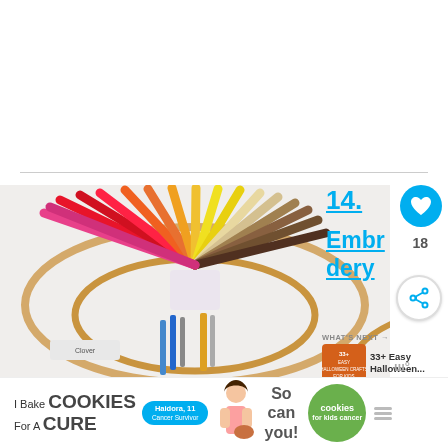[Figure (photo): White blank area at top of webpage screenshot]
[Figure (photo): Embroidery kit photo showing colorful thread skeins arranged in a circle/fan with embroidery hoops on a white background]
14.
Embr
dery
18
WHAT'S NEXT →
33+ Easy Halloween...
Kit
[Figure (photo): Advertisement banner: I Bake COOKIES For A CURE | Haidora, 11 Cancer Survivor | So can you! | cookies for kids cancer logo]
I Bake COOKIES For A CURE Haidora, 11 Cancer Survivor So can you!